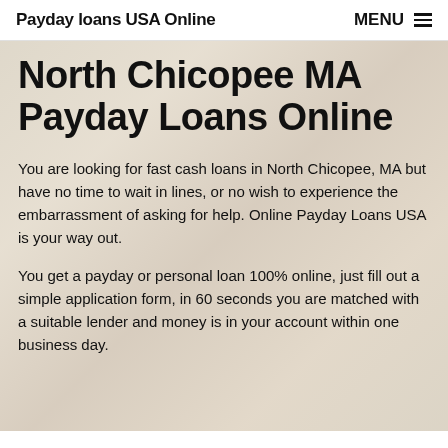Payday loans USA Online    MENU ☰
North Chicopee MA Payday Loans Online
You are looking for fast cash loans in North Chicopee, MA but have no time to wait in lines, or no wish to experience the embarrassment of asking for help. Online Payday Loans USA is your way out.
You get a payday or personal loan 100% online, just fill out a simple application form, in 60 seconds you are matched with a suitable lender and money is in your account within one business day.